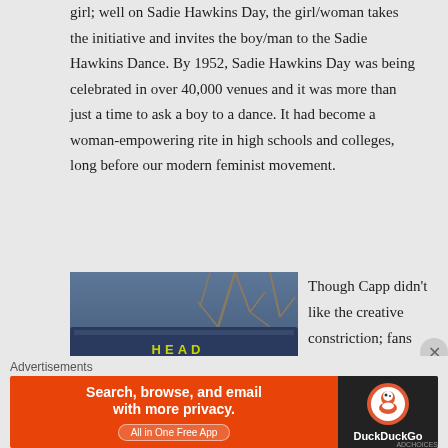girl; well on Sadie Hawkins Day, the girl/woman takes the initiative and invites the boy/man to the Sadie Hawkins Dance. By 1952, Sadie Hawkins Day was being celebrated in over 40,000 venues and it was more than just a time to ask a boy to a dance. It had become a woman-empowering rite in high schools and colleges, long before our modern feminist movement.
[Figure (photo): Photo of an old painted/graffiti sign reading 'DESPATCH' with yellow-green letters on a blue background, with trees visible in the background. A number '2' is visible on the left side.]
Though Capp didn't like the creative constriction; fans showered him with letters urging him to
Advertisements
[Figure (screenshot): DuckDuckGo advertisement banner. Orange background on left with text 'Search, browse, and email with more privacy. All in One Free App'. Dark background on right with DuckDuckGo logo and name.]